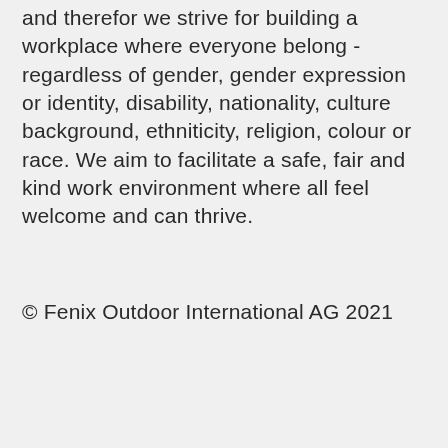and therefor we strive for building a workplace where everyone belong - regardless of gender, gender expression or identity, disability, nationality, culture background, ethniticity, religion, colour or race. We aim to facilitate a safe, fair and kind work environment where all feel welcome and can thrive.
© Fenix Outdoor International AG 2021